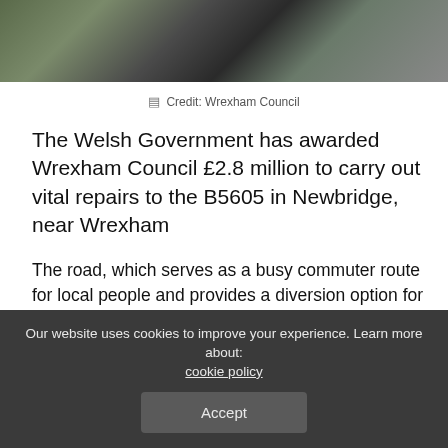[Figure (photo): Aerial or close-up view of severely cracked road surface with deep fissures in the asphalt]
Credit: Wrexham Council
The Welsh Government has awarded Wrexham Council £2.8 million to carry out vital repairs to the B5605 in Newbridge, near Wrexham
The road, which serves as a busy commuter route for local people and provides a diversion option for the A483 bypass, has been closed since the damage caused by Storm Christoph last year.
Due to the severity of the damage a series of complex surveys and cost analysis has been carried out by Wrexham Council to
Our website uses cookies to improve your experience. Learn more about: cookie policy
Accept